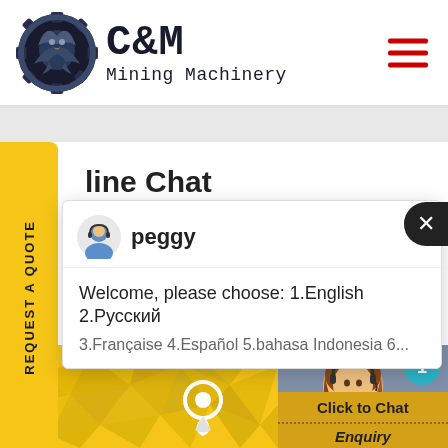[Figure (logo): C&M Mining Machinery logo with eagle gear icon]
[Figure (screenshot): Live chat popup from peggy with welcome message: Welcome, please choose: 1.English 2.Русский 3.Française 4.Español 5.bahasa Indonesia 6...]
line Chat
REQUEST A QUOTE
[Figure (illustration): Yellow polygonal world map with location pin icon]
[Figure (photo): Customer support woman with headset, teal badge showing 1, Click to Chat button, Enquiry section]
Click to Chat
Enquiry